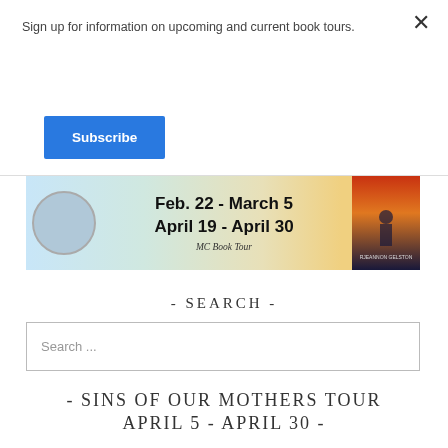Sign up for information on upcoming and current book tours.
Subscribe
[Figure (infographic): MC Book Tour banner showing author photo circle, dates Feb. 22 - March 5 and April 19 - April 30, and a book cover with a figure silhouette]
- SEARCH -
Search ...
- SINS OF OUR MOTHERS TOUR APRIL 5 - APRIL 30 -